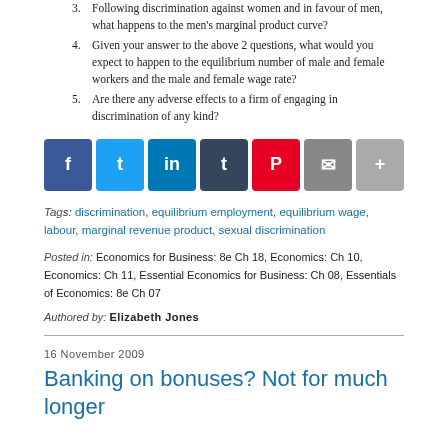3. Following discrimination against women and in favour of men, what happens to the men's marginal product curve?
4. Given your answer to the above 2 questions, what would you expect to happen to the equilibrium number of male and female workers and the male and female wage rate?
5. Are there any adverse effects to a firm of engaging in discrimination of any kind?
[Figure (infographic): Social sharing buttons: Facebook, Twitter, LinkedIn, Tumblr, Pinterest, Email, More]
Tags: discrimination, equilibrium employment, equilibrium wage, labour, marginal revenue product, sexual discrimination
Posted in: Economics for Business: 8e Ch 18, Economics: Ch 10, Economics: Ch 11, Essential Economics for Business: Ch 08, Essentials of Economics: 8e Ch 07
Authored by: Elizabeth Jones
16 November 2009
Banking on bonuses? Not for much longer